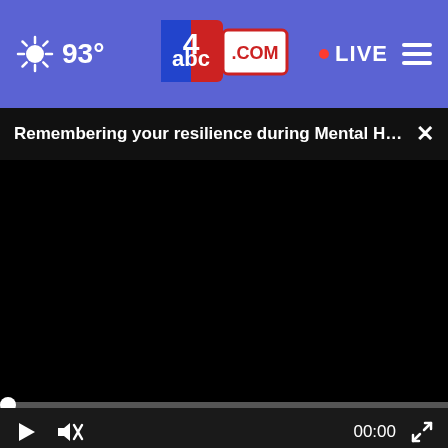[Figure (screenshot): ABC4.com website navigation bar with weather (sun icon, 93°), ABC4.com logo in center, LIVE indicator with red dot, and hamburger menu on right. Purple/blue background.]
Remembering your resilience during Mental Healt...
[Figure (screenshot): Video player showing black screen (video not loaded), with seekbar at bottom, play button, mute button, time display 00:00, and fullscreen button.]
[Figure (screenshot): Advertisement banner overlay: Tire Auto store in Ashburn, OPEN 7:30AM-6PM, 43781 Parkhurst Plaza, Ashburn, with navigation icon. Close X button above ad.]